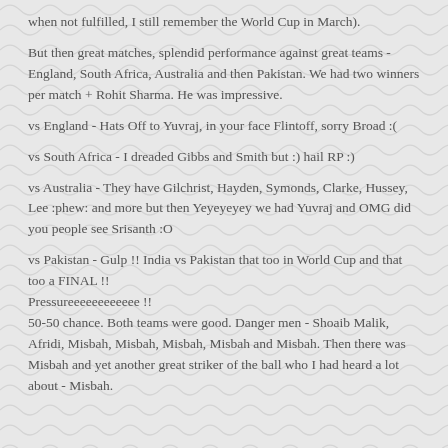when not fulfilled, I still remember the World Cup in March).
But then great matches, splendid performance against great teams - England, South Africa, Australia and then Pakistan. We had two winners per match + Rohit Sharma. He was impressive.
vs England - Hats Off to Yuvraj, in your face Flintoff, sorry Broad :(
vs South Africa - I dreaded Gibbs and Smith but :) hail RP :)
vs Australia - They have Gilchrist, Hayden, Symonds, Clarke, Hussey, Lee :phew: and more but then Yeyeyeyey we had Yuvraj and OMG did you people see Srisanth :O
vs Pakistan - Gulp !! India vs Pakistan that too in World Cup and that too a FINAL !!
Pressureeeeeeeeeeee !!
50-50 chance. Both teams were good. Danger men - Shoaib Malik, Afridi, Misbah, Misbah, Misbah, Misbah and Misbah. Then there was Misbah and yet another great striker of the ball who I had heard a lot about - Misbah.